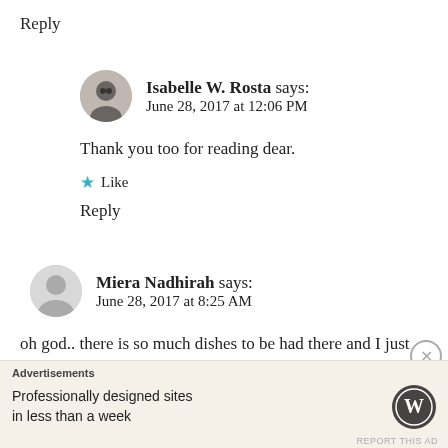Reply
Isabelle W. Rosta says:
June 28, 2017 at 12:06 PM
Thank you too for reading dear.
★ Like
Reply
Miera Nadhirah says:
June 28, 2017 at 8:25 AM
oh god.. there is so much dishes to be had there and I just love the concept and hope to visit there someday.....looks like just so much fun to be had..
Advertisements
Professionally designed sites in less than a week